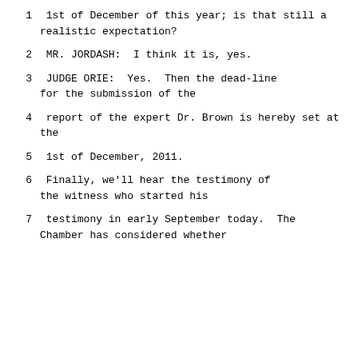1      1st of December of this year; is that still a realistic expectation?
2             MR. JORDASH:  I think it is, yes.
3             JUDGE ORIE:  Yes.  Then the dead-line for the submission of the
4      report of the expert Dr. Brown is hereby set at the
5      1st of December, 2011.
6             Finally, we'll hear the testimony of the witness who started his
7      testimony in early September today.  The Chamber has considered whether